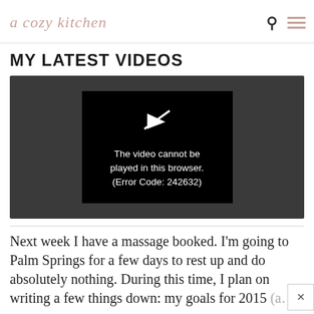a cozy kitchen
MY LATEST VIDEOS
[Figure (screenshot): Video player showing error: 'The video cannot be played in this browser. (Error Code: 242632)']
Next week I have a massage booked. I'm going to Palm Springs for a few days to rest up and do absolutely nothing. During this time, I plan on writing a few things down: my goals for 2015 (a…